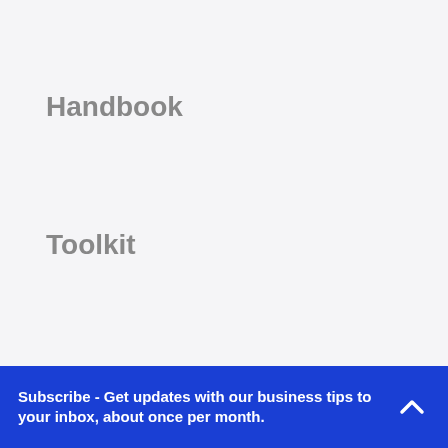Handbook
Toolkit
Subscribe - Get updates with our business tips to your inbox, about once per month.